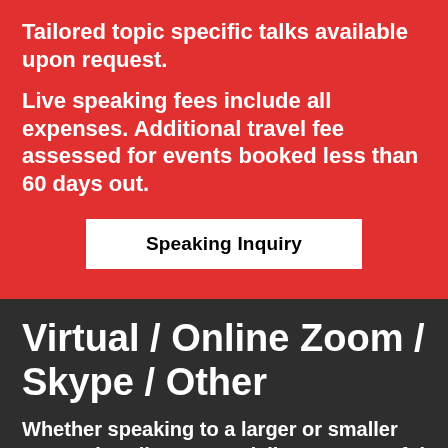Tailored topic specific talks available upon request.
Live speaking fees include all expenses. Additional travel fee assessed for events booked less than 60 days out.
Speaking Inquiry
Virtual / Online Zoom / Skype / Other
Whether speaking to a larger or smaller group virtually, Dr. Joo delivers a powerful talk...